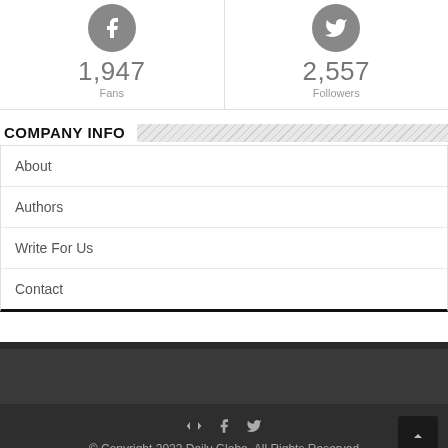[Figure (infographic): Social media stats showing Facebook 1,947 Fans and Twitter 2,557 Followers with circular icons]
COMPANY INFO
About
Authors
Write For Us
Contact
© Copyright 2022 Daily Globe, All Rights Reserved